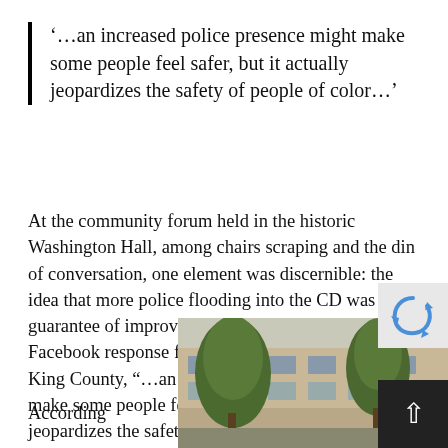‘…an increased police presence might make some people feel safer, but it actually jeopardizes the safety of people of color…’
At the community forum held in the historic Washington Hall, among chairs scraping and the din of conversation, one element was discernible: the idea that more police flooding into the CD was not a guarantee of improved safety. According to a Facebook response from Black Lives Matter Seattle-King County, “…an increased police presence might make some people feel safer, but it actually jeopardizes the safety of people of color…” The correlation between targeted police responses and the increased incarceration rates of people of color are not lost on these long-term activists.
[Figure (photo): Partial photo of a building with trees in the foreground, visible in lower right of the page]
According